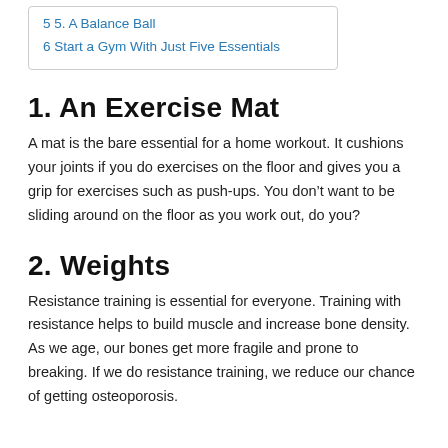5 5. A Balance Ball
6 Start a Gym With Just Five Essentials
1. An Exercise Mat
A mat is the bare essential for a home workout. It cushions your joints if you do exercises on the floor and gives you a grip for exercises such as push-ups. You don’t want to be sliding around on the floor as you work out, do you?
2. Weights
Resistance training is essential for everyone. Training with resistance helps to build muscle and increase bone density. As we age, our bones get more fragile and prone to breaking. If we do resistance training, we reduce our chance of getting osteoporosis.